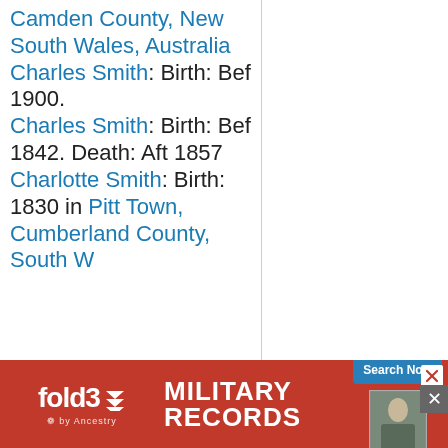Camden County, New South Wales, Australia Charles Smith: Birth: Bef 1900. Charles Smith: Birth: Bef 1842. Death: Aft 1857 Charlotte Smith: Birth: 1830 in Pitt Town, Cumberland County, South Wales,
[Figure (infographic): fold3 by Ancestry advertisement banner for Military Records with Search Now button and soldier photo]